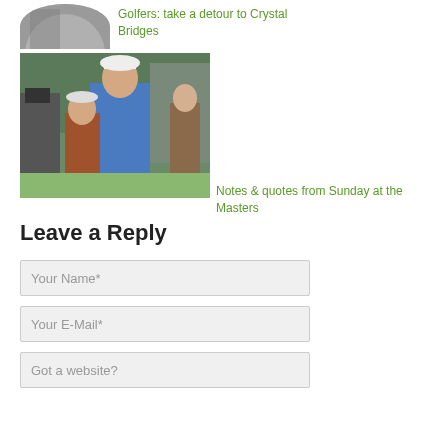[Figure (photo): Partial view of a circular avatar/profile image with dark background, showing top of a person or landmark]
Golfers: take a detour to Crystal Bridges
[Figure (photo): Photo of a golfer in a blue sweater at a golf tournament surrounded by people including a camera crew]
Notes & quotes from Sunday at the Masters
Leave a Reply
Your Name*
Your E-Mail*
Got a website?